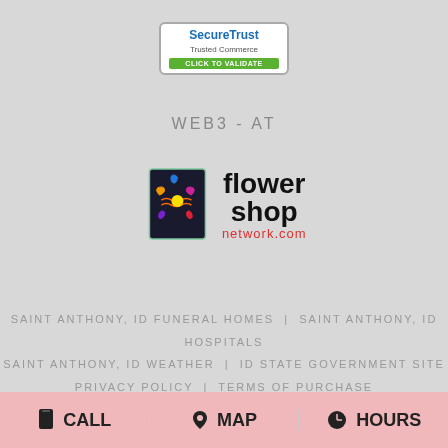[Figure (logo): SecureTrust Trusted Commerce badge with 'CLICK TO VALIDATE' green button]
WEB3-AT
[Figure (logo): Flower Shop Network .com logo with colorful flower graphic]
SAINT ANTHONY, ID FUNERAL HOMES | SAINT ANTHONY, ID HOSPITALS
SAINT ANTHONY, ID WEATHER | ID STATE GOVERNMENT SITE
PRIVACY POLICY | TERMS OF PURCHASE
CALL  MAP  HOURS